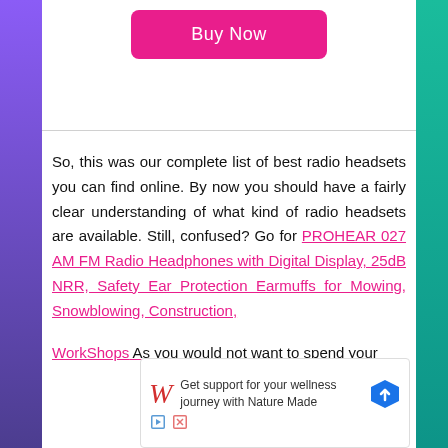[Figure (other): Pink 'Buy Now' button on white background]
So, this was our complete list of best radio headsets you can find online. By now you should have a fairly clear understanding of what kind of radio headsets are available. Still, confused? Go for PROHEAR 027 AM FM Radio Headphones with Digital Display, 25dB NRR, Safety Ear Protection Earmuffs for Mowing, Snowblowing, Construction, WorkShops. As you would not want to spend your
[Figure (other): Walgreens advertisement: Get support for your wellness journey with Nature Made]